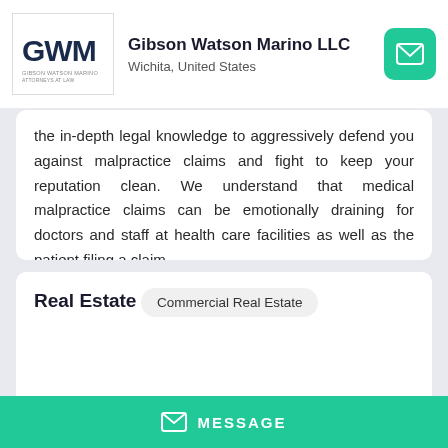Gibson Watson Marino LLC — Wichita, United States
the in-depth legal knowledge to aggressively defend you against malpractice claims and fight to keep your reputation clean. We understand that medical malpractice claims can be emotionally draining for doctors and staff at health care facilities as well as the patient filing a claim.
Real Estate
Commercial Real Estate
MESSAGE